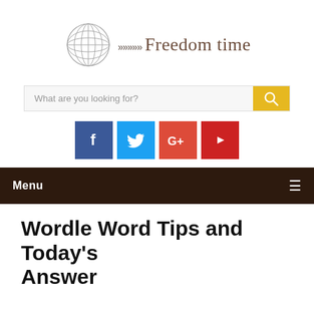[Figure (logo): Freedom time website logo with globe icon and chevron arrows]
[Figure (screenshot): Search bar with placeholder text 'What are you looking for?' and yellow search button]
[Figure (infographic): Social media icons: Facebook (dark blue), Twitter (light blue), Google+ (red-orange), YouTube (red)]
Menu
Wordle Word Tips and Today's Answer